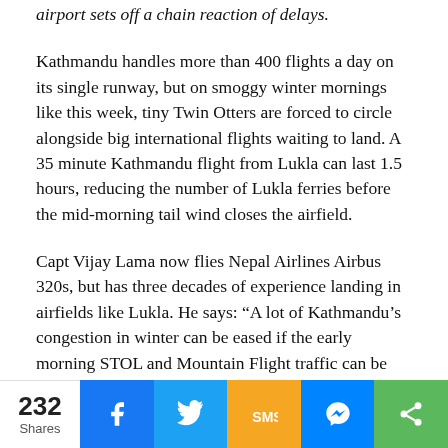airport sets off a chain reaction of delays.
Kathmandu handles more than 400 flights a day on its single runway, but on smoggy winter mornings like this week, tiny Twin Otters are forced to circle alongside big international flights waiting to land. A 35 minute Kathmandu flight from Lukla can last 1.5 hours, reducing the number of Lukla ferries before the mid-morning tail wind closes the airfield.
Capt Vijay Lama now flies Nepal Airlines Airbus 320s, but has three decades of experience landing in airfields like Lukla. He says: “A lot of Kathmandu’s congestion in winter can be eased if the early morning STOL and Mountain Flight traffic can be diversified to other airports.”
232 Shares